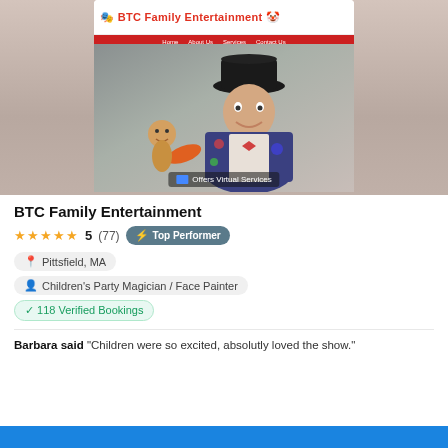[Figure (screenshot): BTC Family Entertainment website screenshot showing a performer in a black bowler hat and colorful vest holding a balloon animal figure, with the website header showing the BTC Family Entertainment logo and red navigation bar. An 'Offers Virtual Services' badge appears at the bottom of the image.]
BTC Family Entertainment
★★★★★ 5 (77) Top Performer
Pittsfield, MA
Children's Party Magician / Face Painter
✓ 118 Verified Bookings
Barbara said "Children were so excited, absolutly loved the show."